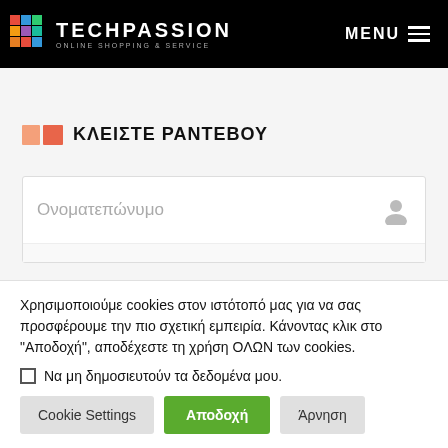[Figure (logo): TechPassion logo with colorful pixel T icon, white text 'TECHPASSION' and subtitle 'ONLINE SHOPPING & SERVICE' on black background, with MENU hamburger button on the right]
ΚΛΕΙΣΤΕ ΡΑΝΤΕΒΟΥ
[Figure (screenshot): Form input field with placeholder text 'Ονοματεπώνυμο' and a user silhouette icon on the right]
Χρησιμοποιούμε cookies στον ιστότοπό μας για να σας προσφέρουμε την πιο σχετική εμπειρία. Κάνοντας κλικ στο "Αποδοχή", αποδέχεστε τη χρήση ΟΛΩΝ των cookies.
Να μη δημοσιευτούν τα δεδομένα μου.
Cookie Settings   Αποδοχή   Άρνηση